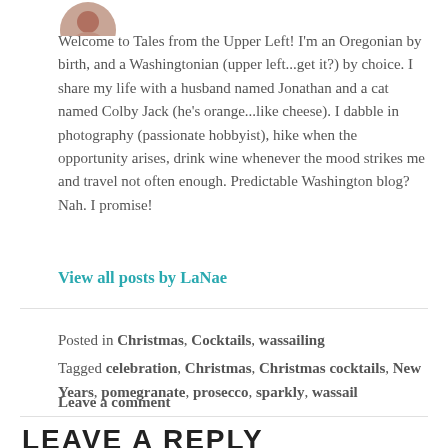[Figure (photo): Circular avatar photo of the blog author LaNae, cropped at top of page]
Welcome to Tales from the Upper Left! I'm an Oregonian by birth, and a Washingtonian (upper left...get it?) by choice. I share my life with a husband named Jonathan and a cat named Colby Jack (he's orange...like cheese). I dabble in photography (passionate hobbyist), hike when the opportunity arises, drink wine whenever the mood strikes me and travel not often enough. Predictable Washington blog? Nah. I promise!
View all posts by LaNae
Posted in Christmas, Cocktails, wassailing
Tagged celebration, Christmas, Christmas cocktails, New Years, pomegranate, prosecco, sparkly, wassail
Leave a comment
LEAVE A REPLY